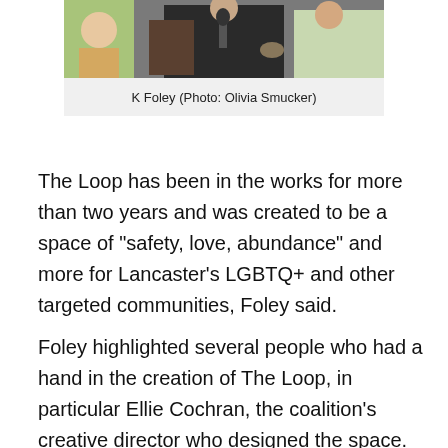[Figure (photo): Photo of K Foley speaking into a microphone outdoors, wearing a black sleeveless top, with other people visible in the background.]
K Foley (Photo: Olivia Smucker)
The Loop has been in the works for more than two years and was created to be a space of "safety, love, abundance" and more for Lancaster's LGBTQ+ and other targeted communities, Foley said.
Foley highlighted several people who had a hand in the creation of The Loop, in particular Ellie Cochran, the coalition's creative director who designed the space.